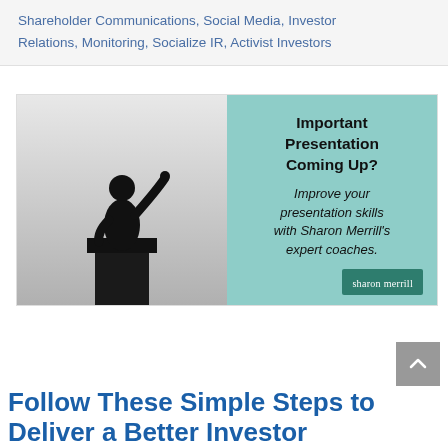Shareholder Communications, Social Media, Investor Relations, Monitoring, Socialize IR, Activist Investors
[Figure (illustration): Advertisement banner split in two: left half shows a black-and-white silhouette photo of a person speaking at a podium; right half has a teal/mint background with text 'Important Presentation Coming Up? Improve your presentation skills with Sharon Merrill's expert coaches.' and a Sharon Merrill logo in the bottom right.]
Follow These Simple Steps to Deliver a Better Investor...